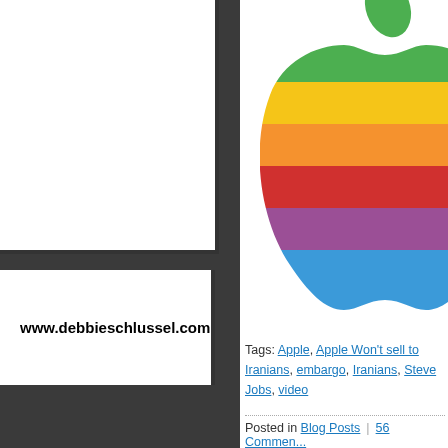www.debbieschlussel.com
[Figure (logo): Rainbow Apple logo (classic multicolor striped Apple Inc. logo)]
Tags: Apple, Apple Won't sell to Iranians, embargo, Iranians, Steve Jobs, video
Posted in Blog Posts | 56 Comments